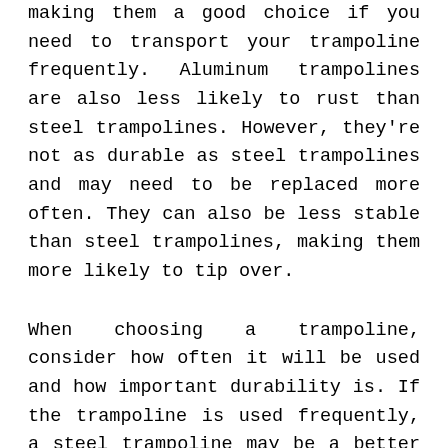making them a good choice if you need to transport your trampoline frequently. Aluminum trampolines are also less likely to rust than steel trampolines. However, they're not as durable as steel trampolines and may need to be replaced more often. They can also be less stable than steel trampolines, making them more likely to tip over.
When choosing a trampoline, consider how often it will be used and how important durability is. If the trampoline is used frequently, a steel trampoline may be a better choice. On the other hand, an aluminum trampoline may be better if portability is more important. Ultimately,